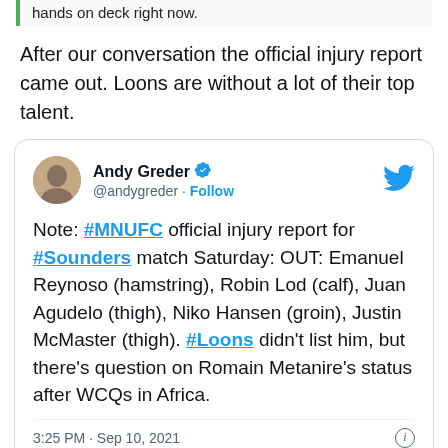hands on deck right now.
After our conversation the official injury report came out. Loons are without a lot of their top talent.
[Figure (screenshot): Embedded tweet from Andy Greder (@andygreder) with verified badge and Follow button. Tweet text: Note: #MNUFC official injury report for #Sounders match Saturday: OUT: Emanuel Reynoso (hamstring), Robin Lod (calf), Juan Agudelo (thigh), Niko Hansen (groin), Justin McMaster (thigh). #Loons didn't list him, but there's question on Romain Metanire's status after WCQs in Africa. Timestamp: 3:25 PM · Sep 10, 2021]